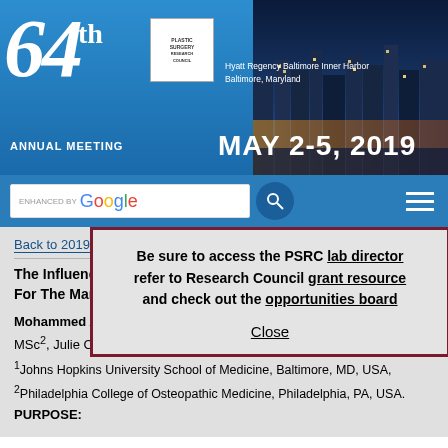[Figure (screenshot): 64th Annual Meeting banner with logo, May 2-5 2019, Hyatt Regency Baltimore Inner Harbor, Baltimore Maryland, and city skyline photo]
[Figure (screenshot): Website navigation bar with Google search box and hamburger menu on blue background]
Be sure to access the PSRC lab directory, refer to Research Council grant resources and check out the opportunities board
Close
Back to 2019 Poste
The Influence Of Judgment Of Different Health Professionals For The Management Of Indeterminate Depth Burn Wounds
Mohammed Asif, MD1, Ashley Modica, MD1, An Guo Michael Chin, MSc2, Julie Caffrey, DO1, Charles Scott Hultman, MD, MBA1.
1Johns Hopkins University School of Medicine, Baltimore, MD, USA,
2Philadelphia College of Osteopathic Medicine, Philadelphia, PA, USA.
PURPOSE: